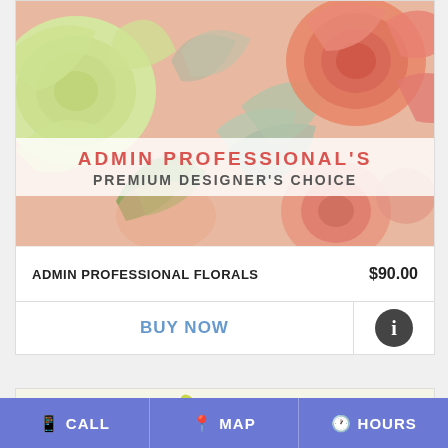[Figure (photo): Close-up photo of pink and green ranunculus flowers with dusty miller foliage on a pink/salmon background, with a semi-transparent white overlay banner showing product name]
ADMIN PROFESSIONAL'S
PREMIUM DESIGNER'S CHOICE
| ADMIN PROFESSIONAL FLORALS | $90.00 |
| BUY NOW | ℹ |
[Figure (photo): Partial view of yellow lily flower arrangement at bottom of page]
CALL   MAP   HOURS